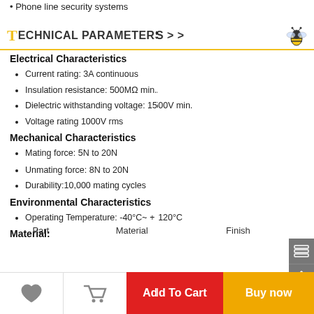Phone line security systems
TECHNICAL PARAMETERS > >
Electrical Characteristics
Current rating: 3A continuous
Insulation resistance: 500MΩ min.
Dielectric withstanding voltage: 1500V min.
Voltage rating 1000V rms
Mechanical Characteristics
Mating force: 5N to 20N
Unmating force: 8N to 20N
Durability:10,000 mating cycles
Environmental Characteristics
Operating Temperature: -40°C~ + 120°C
Material:
| Part | Material | Finish |
| --- | --- | --- |